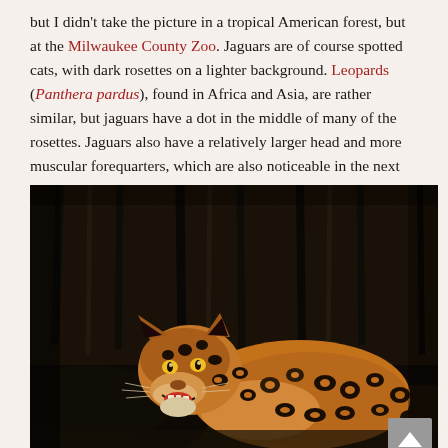but I didn't take the picture in a tropical American forest, but at the Milwaukee County Zoo. Jaguars are of course spotted cats, with dark rosettes on a lighter background. Leopards (Panthera pardus), found in Africa and Asia, are rather similar, but jaguars have a dot in the middle of many of the rosettes. Jaguars also have a relatively larger head and more muscular forequarters, which are also noticeable in the next picture.
[Figure (photo): A jaguar with spotted coat resting in a dark enclosure, facing left with mouth slightly open showing teeth, glowing eyes visible. Dark wood-like background. Photo taken at Milwaukee County Zoo.]